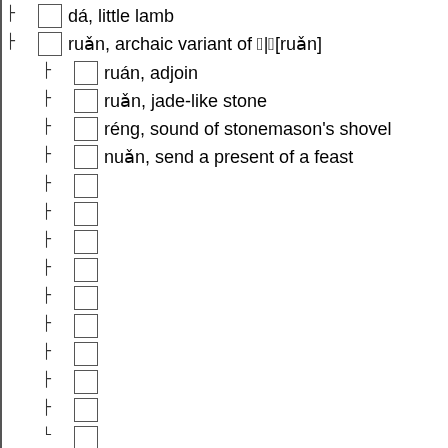dá, little lamb
ruǎn, archaic variant of 𤿅|𬼄[ruǎn]
ruán, adjoin
ruǎn, jade-like stone
réng, sound of stonemason's shovel
nuǎn, send a present of a feast